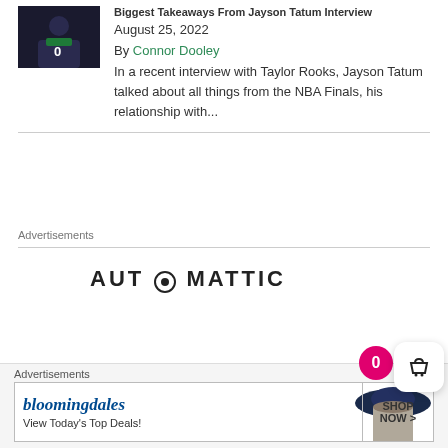[Figure (photo): Basketball player thumbnail image with jersey number 0]
Biggest Takeaways From Jayson Tatum Interview
August 25, 2022
By Connor Dooley
In a recent interview with Taylor Rooks, Jayson Tatum talked about all things from the NBA Finals, his relationship with...
Advertisements
[Figure (logo): Automattic logo in bold uppercase letters with a circular icon replacing the O]
Advertisements
[Figure (screenshot): Bloomingdales advertisement banner reading 'View Today's Top Deals!' with SHOP NOW button and woman with hat]